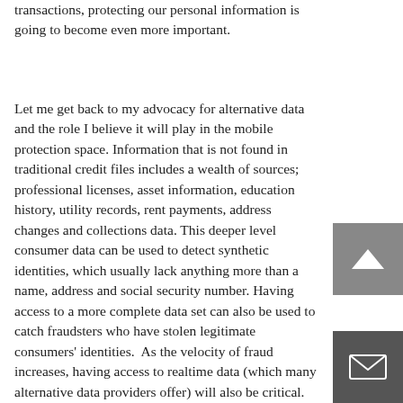transactions, protecting our personal information is going to become even more important.
Let me get back to my advocacy for alternative data and the role I believe it will play in the mobile protection space. Information that is not found in traditional credit files includes a wealth of sources; professional licenses, asset information, education history, utility records, rent payments, address changes and collections data. This deeper level consumer data can be used to detect synthetic identities, which usually lack anything more than a name, address and social security number. Having access to a more complete data set can also be used to catch fraudsters who have stolen legitimate consumers' identities.  As the velocity of fraud increases, having access to realtime data (which many alternative data providers offer) will also be critical.